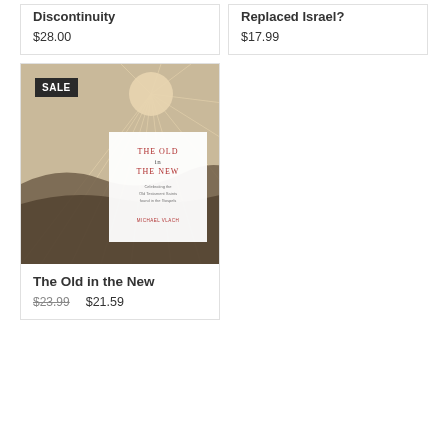Discontinuity
$28.00
Replaced Israel?
$17.99
[Figure (illustration): Book cover of 'The Old in the New' by Michael Vlach, with a sepia-toned illustration of sun rays over a stormy sea with a white overlay panel showing the title in red and dark text.]
The Old in the New
$23.99
$21.59